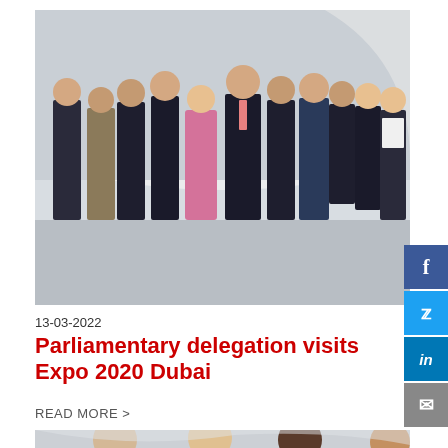[Figure (photo): Group photo of a parliamentary delegation standing together at Expo 2020 Dubai venue. About 11-12 people in formal attire, including men in dark suits and a woman in a floral dress, posing in front of a curved white architectural structure.]
13-03-2022
Parliamentary delegation visits Expo 2020 Dubai
READ MORE >
[Figure (photo): Partial view of a second photo showing a group of women at what appears to be a similar expo or event venue.]